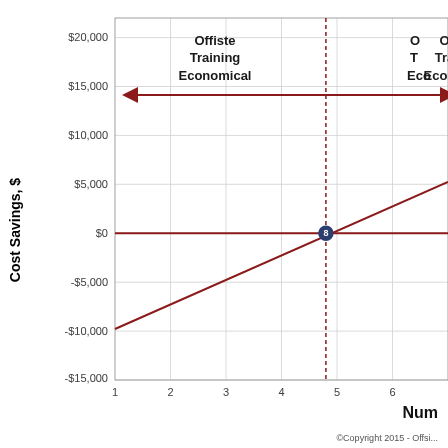[Figure (continuous-plot): Cost savings chart showing two crossing lines (Offsite Training Economical vs On-site Training Economical) as a function of number of trainees. A dotted vertical red line at x≈4.8 marks the breakeven point. Y-axis: Cost Savings $ from -$15,000 to $20,000+. X-axis: Number of trainees 1-6+. Arrows indicate regions.]
©Copyright 2015 - Offsi...